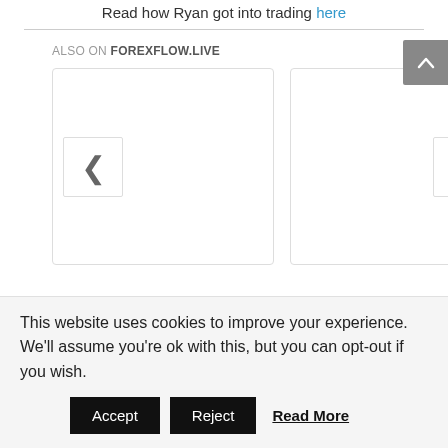Read how Ryan got into trading here
ALSO ON FOREXFLOW.LIVE
[Figure (screenshot): Carousel widget with two card placeholders, left navigation chevron button and right navigation chevron button, plus scroll-to-top button]
This website uses cookies to improve your experience. We'll assume you're ok with this, but you can opt-out if you wish.
Accept   Reject   Read More